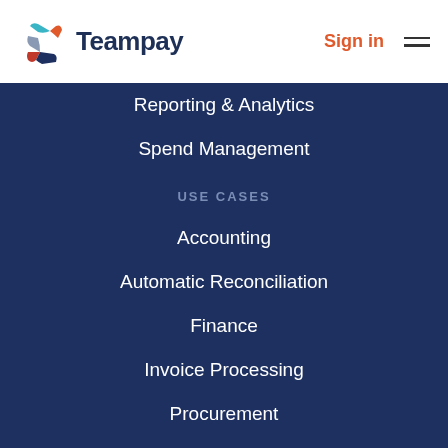[Figure (logo): Teampay logo with colorful icon and dark blue text]
Sign in
Reporting & Analytics
Spend Management
USE CASES
Accounting
Automatic Reconciliation
Finance
Invoice Processing
Procurement
Purchase Approval